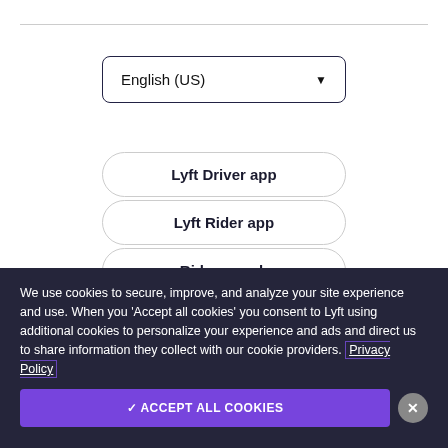[Figure (screenshot): Dropdown selector showing 'English (US)' with a downward arrow]
Lyft Driver app
Lyft Rider app
Ride on web
We use cookies to secure, improve, and analyze your site experience and use. When you 'Accept all cookies' you consent to Lyft using additional cookies to personalize your experience and ads and direct us to share information they collect with our cookie providers. Privacy Policy
✓ ACCEPT ALL COOKIES